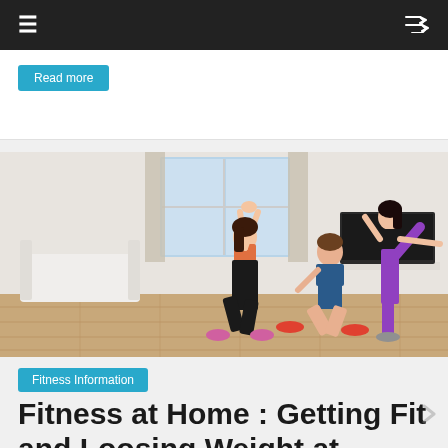≡  ⇌
Read more
[Figure (photo): Three people exercising in a living room: a woman doing a lunge with arms raised, a man on the floor doing a core exercise, and another woman balancing on one leg in a yoga pose. Bright apartment interior with white sofa, large window, and TV in background.]
Fitness Information
Fitness at Home : Getting Fit and Loosing Weight at